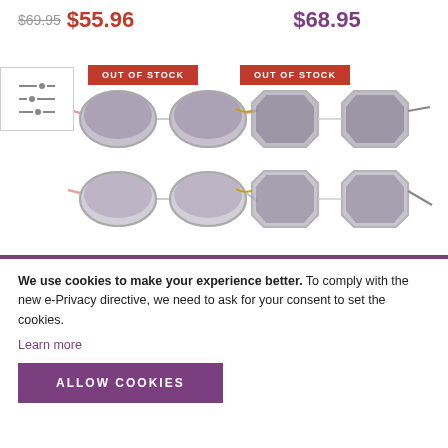$69.95 $55.96
$68.95
[Figure (photo): Two pairs of round metal-frame sunglasses with gradient lenses, shown in front and side views, marked OUT OF STOCK]
[Figure (photo): Two pairs of round metal-frame sunglasses with chain-detail frames and gradient lenses, shown in front and side views, marked OUT OF STOCK]
We use cookies to make your experience better. To comply with the new e-Privacy directive, we need to ask for your consent to set the cookies. Learn more
ALLOW COOKIES